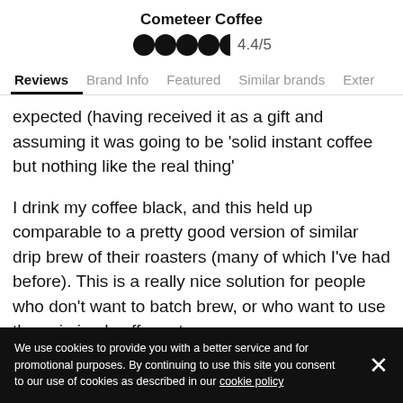Cometeer Coffee
[Figure (other): Star rating display showing 4.4/5 with filled and half-filled circle icons]
Reviews  Brand Info  Featured  Similar brands  Exter
expected (having received it as a gift and assuming it was going to be 'solid instant coffee but nothing like the real thing'
I drink my coffee black, and this held up comparable to a pretty good version of similar drip brew of their roasters (many of which I've had before). This is a really nice solution for people who don't want to batch brew, or who want to use these in iced coffee, etc
We use cookies to provide you with a better service and for promotional purposes. By continuing to use this site you consent to our use of cookies as described in our cookie policy